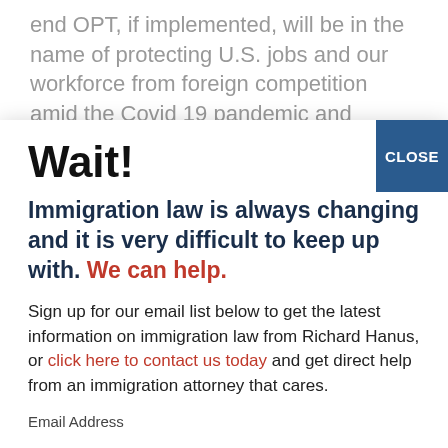end OPT, if implemented, will be in the name of protecting U.S. jobs and our workforce from foreign competition amid the Covid 19 pandemic and impact on the job market.  The economics of such a move has been the subject of vigorous debate, but one
Wait!
Immigration law is always changing and it is very difficult to keep up with. We can help.
Sign up for our email list below to get the latest information on immigration law from Richard Hanus, or click here to contact us today and get direct help from an immigration attorney that cares.
Email Address